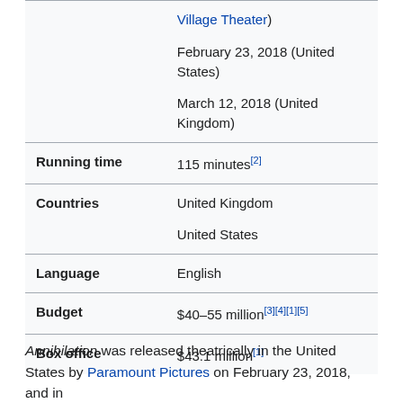| Field | Value |
| --- | --- |
|  | Village Theater)
February 23, 2018 (United States)
March 12, 2018 (United Kingdom) |
| Running time | 115 minutes[2] |
| Countries | United Kingdom
United States |
| Language | English |
| Budget | $40–55 million[3][4][1][5] |
| Box office | $43.1 million[1] |
Annihilation was released theatrically in the United States by Paramount Pictures on February 23, 2018, and in